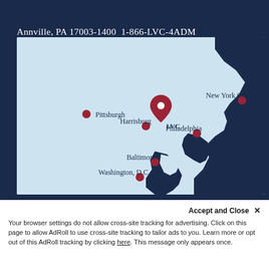Annville, PA 17003-1400 1-866-LVC-4ADM
[Figure (map): Regional map showing LVC (Lebanon Valley College) location in Annville, PA with surrounding cities: Pittsburgh, Harrisburg, New York City, Philadelphia, Baltimore, Washington D.C. The map has a light blue background with dark navy land masses representing the Mid-Atlantic coastline.]
Request Information →
Schedule a Visit
Accept and Close ✕
Your browser settings do not allow cross-site tracking for advertising. Click on this page to allow AdRoll to use cross-site tracking to tailor ads to you. Learn more or opt out of this AdRoll tracking by clicking here. This message only appears once.